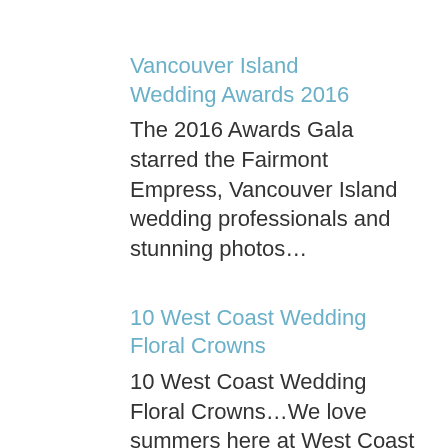Vancouver Island Wedding Awards 2016
The 2016 Awards Gala starred the Fairmont Empress, Vancouver Island wedding professionals and stunning photos…
10 West Coast Wedding Floral Crowns
10 West Coast Wedding Floral Crowns…We love summers here at West Coast Weddings because